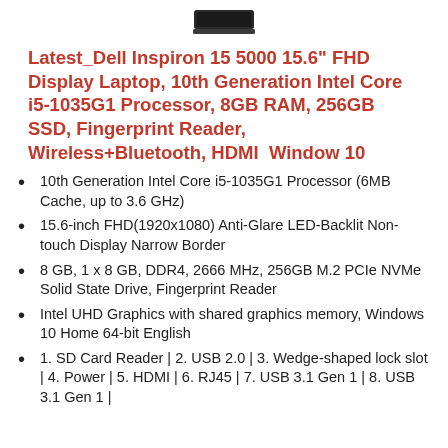[Figure (photo): Partial view of a black Dell laptop seen from above, showing the top edge/hinge area.]
Latest_Dell Inspiron 15 5000 15.6" FHD Display Laptop, 10th Generation Intel Core i5-1035G1 Processor, 8GB RAM, 256GB SSD, Fingerprint Reader, Wireless+Bluetooth, HDMI  Window 10
10th Generation Intel Core i5-1035G1 Processor (6MB Cache, up to 3.6 GHz)
15.6-inch FHD(1920x1080) Anti-Glare LED-Backlit Non-touch Display Narrow Border
8 GB, 1 x 8 GB, DDR4, 2666 MHz, 256GB M.2 PCIe NVMe Solid State Drive, Fingerprint Reader
Intel UHD Graphics with shared graphics memory, Windows 10 Home 64-bit English
1. SD Card Reader | 2. USB 2.0 | 3. Wedge-shaped lock slot | 4. Power | 5. HDMI | 6. RJ45 | 7. USB 3.1 Gen 1 | 8. USB 3.1 Gen 1 |